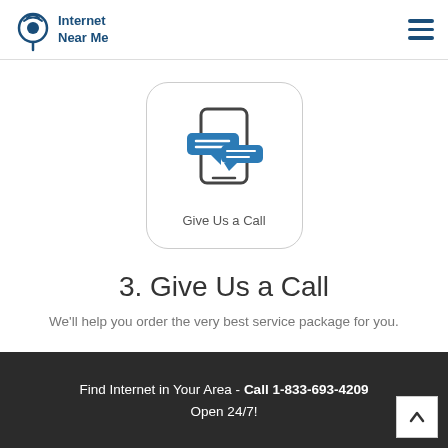Internet Near Me
[Figure (illustration): Rounded square icon box containing a smartphone with two speech bubbles in blue, labeled 'Give Us a Call']
3. Give Us a Call
We'll help you order the very best service package for you.
Find Internet in Your Area - Call 1-833-693-4209 Open 24/7!